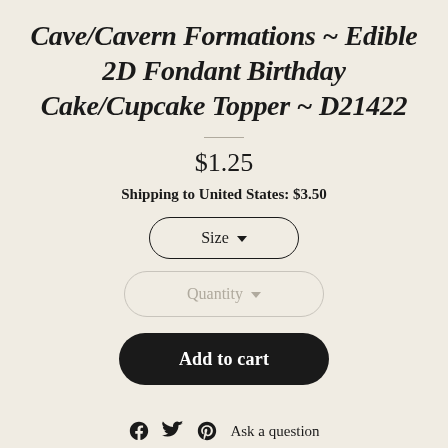Cave/Cavern Formations ~ Edible 2D Fondant Birthday Cake/Cupcake Topper ~ D21422
$1.25
Shipping to United States: $3.50
Size (dropdown)
Quantity (dropdown)
Add to cart
Ask a question